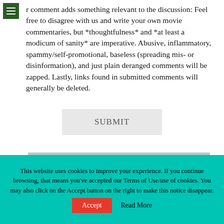menu icon
r comment adds something relevant to the discussion: Feel free to disagree with us and write your own movie commentaries, but *thoughtfulness* and *at least a modicum of sanity* are imperative. Abusive, inflammatory, spammy/self-promotional, baseless (spreading mis- or disinformation), and just plain deranged comments will be zapped. Lastly, links found in submitted comments will generally be deleted.
SUBMIT
[Figure (photo): Black and white photo showing the top of a person's head with dark hair against a muted background]
This website uses cookies to improve your experience. If you continue browsing, that means you've accepted our Terms of Use/use of cookies. You may also click on the Accept button on the right to make this notice disappear.